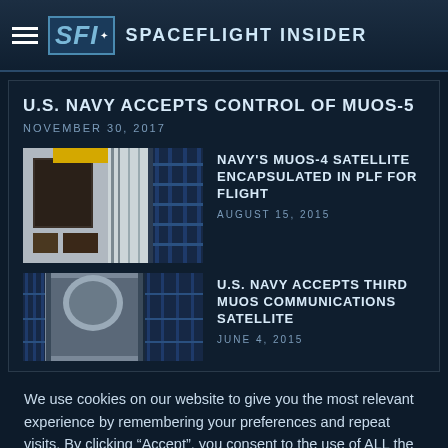Spaceflight Insider
U.S. NAVY ACCEPTS CONTROL OF MUOS-5
NOVEMBER 30, 2017
[Figure (photo): Rocket or satellite encapsulated in fairing inside a facility with blue scaffolding]
NAVY'S MUOS-4 SATELLITE ENCAPSULATED IN PLF FOR FLIGHT
AUGUST 15, 2015
[Figure (photo): Satellite or rocket hardware with blue scaffolding in a launch facility]
U.S. NAVY ACCEPTS THIRD MUOS COMMUNICATIONS SATELLITE
JUNE 4, 2015
We use cookies on our website to give you the most relevant experience by remembering your preferences and repeat visits. By clicking “Accept”, you consent to the use of ALL the cookies.
Privacy Policy | ACCEPT